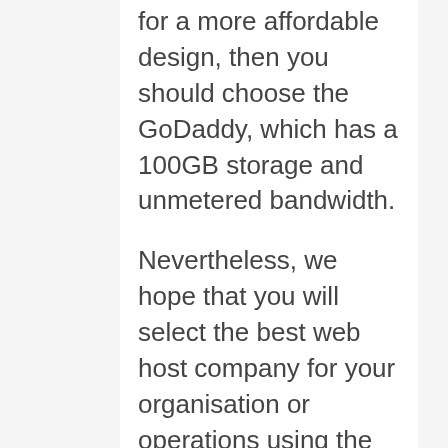for a more affordable design, then you should choose the GoDaddy, which has a 100GB storage and unmetered bandwidth.
Nevertheless, we hope that you will select the best web host company for your organisation or operations using the list above. GOODLUCK.
That, web hosting offers 24/7 customers care services and complimentary email accounts on all kinds of strategies. It's the finest, reputable and protected site for entry-level web host providers. For innovative benefit, the web hosting plan comes featuring DDOS security, unmetered bandwidth, and a 100 GB site